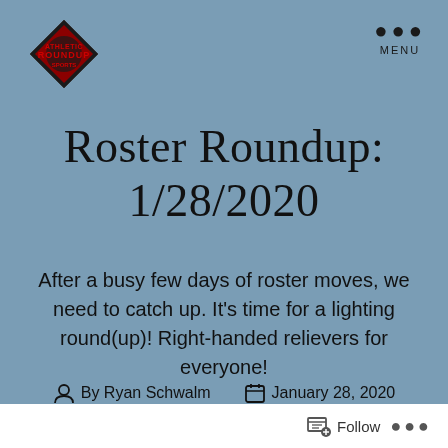[Figure (logo): Diamond-shaped red and black sports logo in top left corner]
MENU
Roster Roundup: 1/28/2020
After a busy few days of roster moves, we need to catch up. It's time for a lighting round(up)! Right-handed relievers for everyone!
By Ryan Schwalm   January 28, 2020
Follow